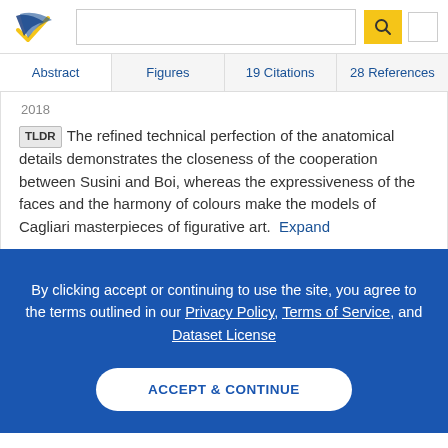[Figure (logo): Semantic Scholar logo - blue and gold checkmark/feather icon]
Abstract  Figures  19 Citations  28 References
2018
TLDR The refined technical perfection of the anatomical details demonstrates the closeness of the cooperation between Susini and Boi, whereas the expressiveness of the faces and the harmony of colours make the models of Cagliari masterpieces of figurative art.  Expand
By clicking accept or continuing to use the site, you agree to the terms outlined in our Privacy Policy, Terms of Service, and Dataset License
ACCEPT & CONTINUE